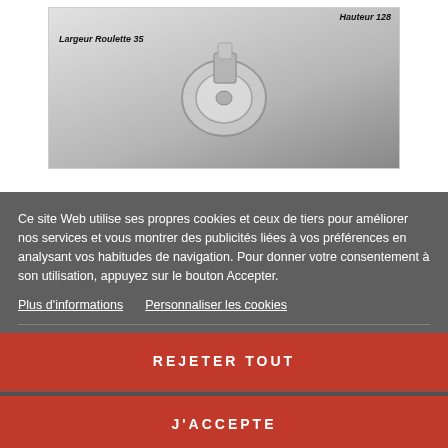[Figure (photo): Product photo of a caster/wheel with labels 'Hauteur 128' and 'Largeur Roulette 35' on a grey background]
Ce site Web utilise ses propres cookies et ceux de tiers pour améliorer nos services et vous montrer des publicités liées à vos préférences en analysant vos habitudes de navigation. Pour donner votre consentement à son utilisation, appuyez sur le bouton Accepter.
Plus d'informations
Personnaliser les cookies
REJETER TOUT
J'ACCEPTE